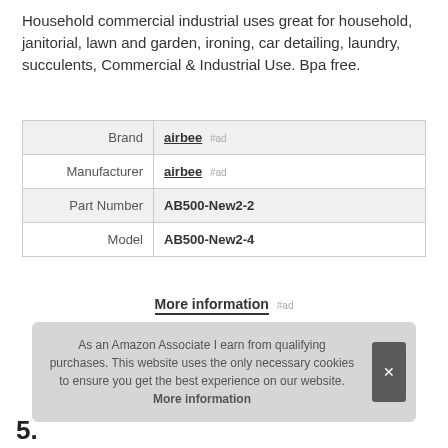Household commercial industrial uses great for household, janitorial, lawn and garden, ironing, car detailing, laundry, succulents, Commercial & Industrial Use. Bpa free.
|  |  |
| --- | --- |
| Brand | airbee #ad |
| Manufacturer | airbee #ad |
| Part Number | AB500-New2-2 |
| Model | AB500-New2-4 |
More information #ad
As an Amazon Associate I earn from qualifying purchases. This website uses the only necessary cookies to ensure you get the best experience on our website. More information
5.